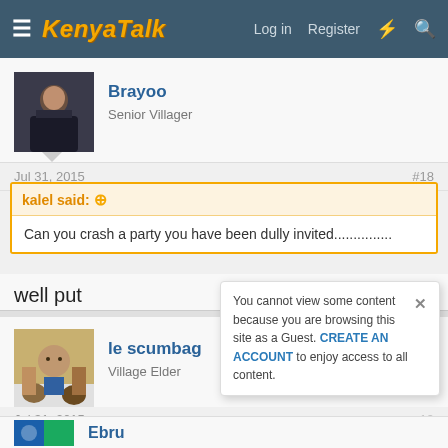KenyaTalk — Log in  Register
Brayoo
Senior Villager
Jul 31, 2015  #18
kalel said: ↗
Can you crash a party you have been dully invited...............
well put
le scumbag
Village Elder
Jul 31, 2015  #19
I salute you sir....
You cannot view some content because you are browsing this site as a Guest. CREATE AN ACCOUNT to enjoy access to all content.
Ebru